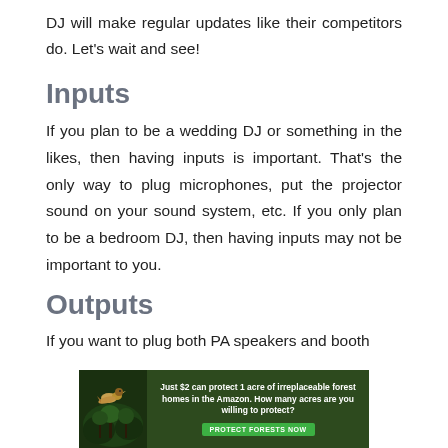DJ will make regular updates like their competitors do. Let's wait and see!
Inputs
If you plan to be a wedding DJ or something in the likes, then having inputs is important. That's the only way to plug microphones, put the projector sound on your sound system, etc. If you only plan to be a bedroom DJ, then having inputs may not be important to you.
Outputs
If you want to plug both PA speakers and booth
[Figure (infographic): Advertisement banner: 'Just $2 can protect 1 acre of irreplaceable forest homes in the Amazon. How many acres are you willing to protect?' with a green Protect Forests Now button and a forest/bird image on the left.]